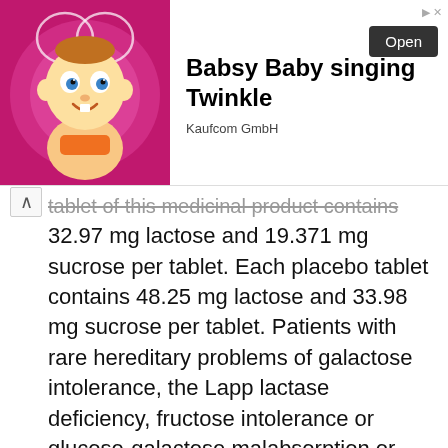[Figure (other): Advertisement banner showing animated baby character with 'Babsy Baby singing Twinkle' text and Open button by Kaufcom GmbH]
tablet of this medicinal product contains 32.97 mg lactose and 19.371 mg sucrose per tablet. Each placebo tablet contains 48.25 mg lactose and 33.98 mg sucrose per tablet. Patients with rare hereditary problems of galactose intolerance, the Lapp lactase deficiency, fructose intolerance or glucose-galactose malabsorption or sucrase-isomaltase should not take this medicine.
- Reduced efficacy
The efficacy of COCs may be reduced, in the event of missed tablets, vomiting or diarrhoea, or concomitant medication.
ALT elevations